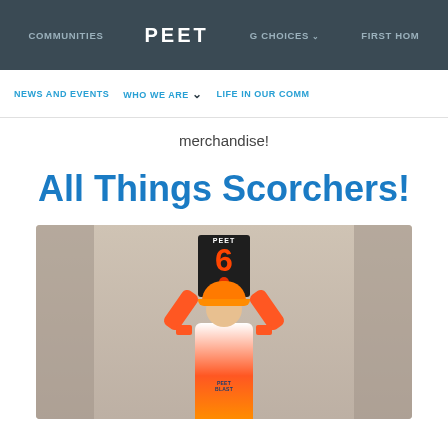COMMUNITIES  PEET  G CHOICES  FIRST HOM
NEWS AND EVENTS   WHO WE ARE   LIFE IN OUR COMM
merchandise!
All Things Scorchers!
[Figure (photo): A child wearing an orange Perth Scorchers cricket jersey, cap, and wristbands, holding up a PEET '6' sign above their head with both arms raised.]